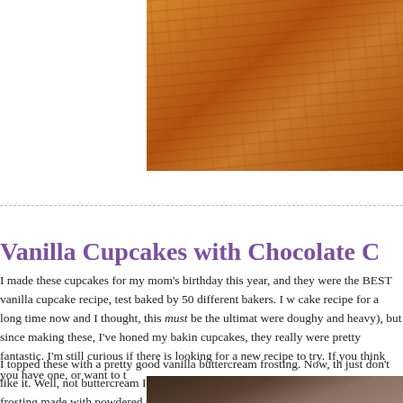[Figure (photo): Close-up photo of wooden surface with warm orange-brown wood grain texture]
Vanilla Cupcakes with Chocolate C
I made these cupcakes for my mom's birthday this year, and they were the BEST vanilla cupcake recipe, test baked by 50 different bakers. I was looking for an amazing cake recipe for a long time now and I thought, this must be the ultimate recipe (my cupcakes were doughy and heavy), but since making these, I've honed my baking skills. When I made these cupcakes, they really were pretty fantastic. I'm still curious if there is a better recipe and I'm always looking for a new recipe to try. If you think you have one, or want to t
I topped these with a pretty good vanilla buttercream frosting. Now, the thing about buttercream — I just don't like it. Well, not buttercream I've made before, anyway. But this recipe — I also don't love buttercream frosting made with powdered sugar, either. I'm — wait, are you really interested! Its realllllly good. It's also realllllly sweet, so if you c — it really highlights the butter flavor, which for me is ideal because I do not like tasting bu
[Figure (photo): Bottom portion of photo showing dark brown surface, possibly chocolate frosted cupcakes or baked goods]